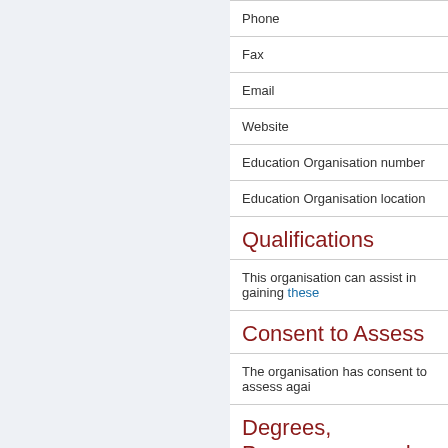Phone
Fax
Email
Website
Education Organisation number
Education Organisation location
Qualifications
This organisation can assist in gaining these
Consent to Assess
The organisation has consent to assess agai
Degrees, Programmes and
The organisation is approved to deliver thes
Registration
International students